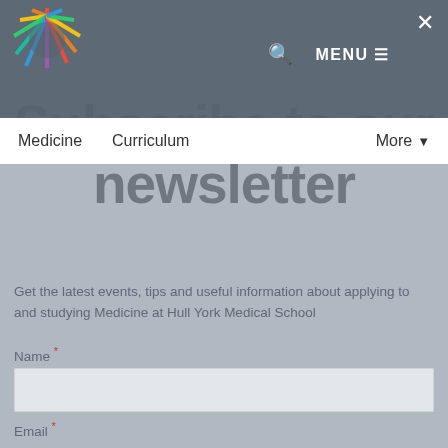[Figure (logo): Hull York Medical School starburst logo with text HULL YORK MEDICAL SCHOOL]
MENU ☰  ✕
Subscribe to our newsletter
Medicine  Curriculum  More ▼
Get the latest events, tips and useful information about applying to and studying Medicine at Hull York Medical School
Name *
Email *